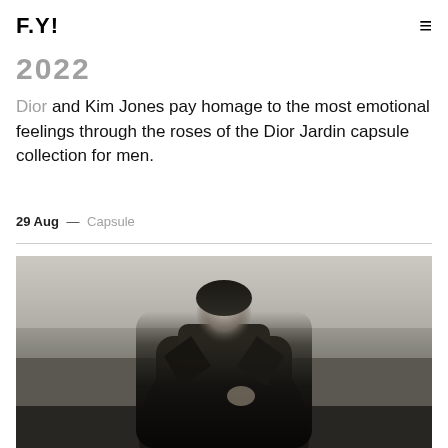F.Y!
2022
Dior and Kim Jones pay homage to the most emotional feelings through the roses of the Dior Jardin capsule collection for men.
29 Aug — Capsule
[Figure (photo): Black and white portrait of a male model wearing a dark heavy coat, standing outdoors near a beach or coastal landscape with a grey overcast sky. The model looks upward with a serious expression.]